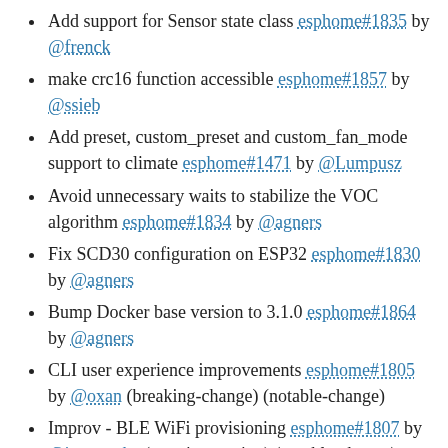Add support for Sensor state class esphome#1835 by @frenck
make crc16 function accessible esphome#1857 by @ssieb
Add preset, custom_preset and custom_fan_mode support to climate esphome#1471 by @Lumpusz
Avoid unnecessary waits to stabilize the VOC algorithm esphome#1834 by @agners
Fix SCD30 configuration on ESP32 esphome#1830 by @agners
Bump Docker base version to 3.1.0 esphome#1864 by @agners
CLI user experience improvements esphome#1805 by @oxan (breaking-change) (notable-change)
Improv - BLE WiFi provisioning esphome#1807 by @jesserockz (new-integration) (notable-change)
Implement versioning for esphome/esphome-lint docker images esphome#1877 by @OttoWinter
Bump base image to 3.4.0 esphome#1879 by